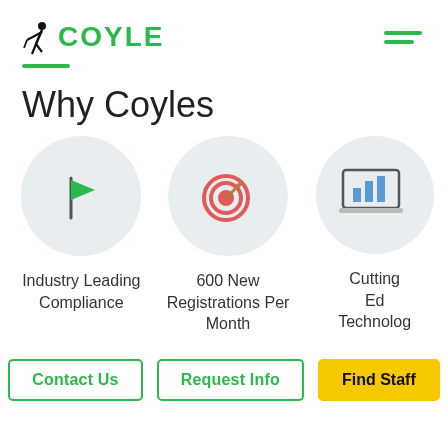COYLE
Why Coyles
[Figure (illustration): Three circular icons: a green flag (Industry Leading Compliance), a target/dart bullseye (600 New Registrations Per Month), and a bar chart on laptop screen (Cutting Edge Technology)]
Industry Leading Compliance
600 New Registrations Per Month
Cutting Edge Technology
Contact Us | Request Info | Find Staff